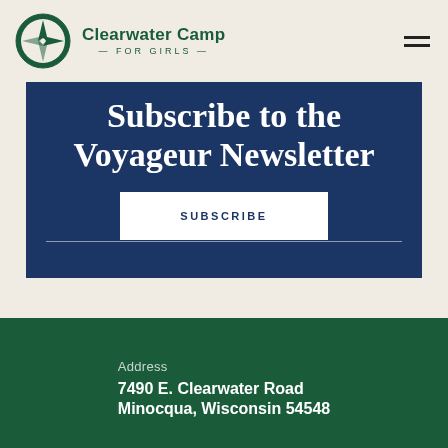Clearwater Camp FOR GIRLS
Subscribe to the Voyageur Newsletter
SUBSCRIBE
Address
7490 E. Clearwater Road
Minocqua, Wisconsin 54548